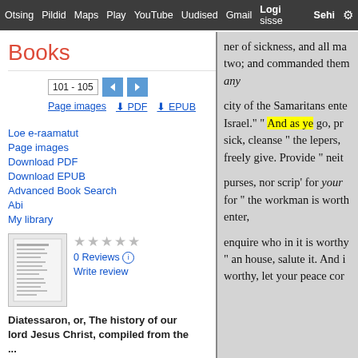Otsing Pildid Maps Play YouTube Uudised Gmail Logi sisse Sehi ⚙
Books
101 - 105
Page images  PDF  EPUB
Loe e-raamatut
Page images
Download PDF
Download EPUB
Advanced Book Search
Abi
My library
0 Reviews
Write review
Diatessaron, or, The history of our lord Jesus Christ, compiled from the ...
ner of sickness, and all ma two; and commanded them any

city of the Samaritans ente Israel." " And as ye go, pr sick, cleanse " the lepers, freely give. Provide " neit

purses, nor scrip' for your for " the workman is worth enter,

enquire who in it is worthy " an house, salute it. And i worthy, let your peace cor